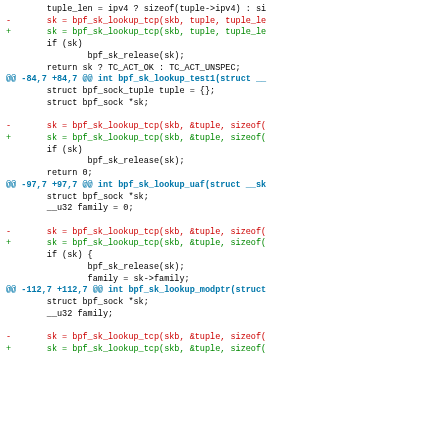[Figure (screenshot): A unified diff / patch view of C source code showing changes to bpf_sk_lookup functions. Red lines show removed code, green lines show added code, blue bold lines show hunk headers, and black lines show context. Multiple hunks are shown for functions bpf_sk_lookup_test1, bpf_sk_lookup_uaf, and bpf_sk_lookup_modptr.]